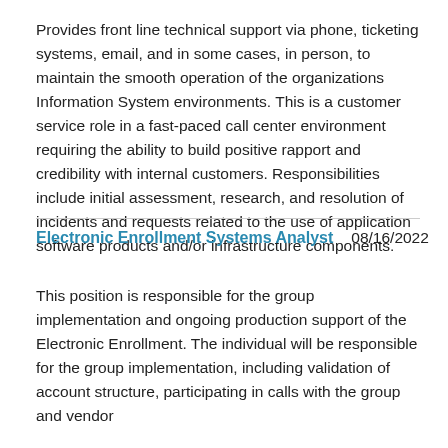Provides front line technical support via phone, ticketing systems, email, and in some cases, in person, to maintain the smooth operation of the organizations Information System environments. This is a customer service role in a fast-paced call center environment requiring the ability to build positive rapport and credibility with internal customers. Responsibilities include initial assessment, research, and resolution of incidents and requests related to the use of application software products and/or infrastructure components.
Electronic Enrollment Systems Analyst     08/16/2022
This position is responsible for the group implementation and ongoing production support of the Electronic Enrollment. The individual will be responsible for the group implementation, including validation of account structure, participating in calls with the group and vendor